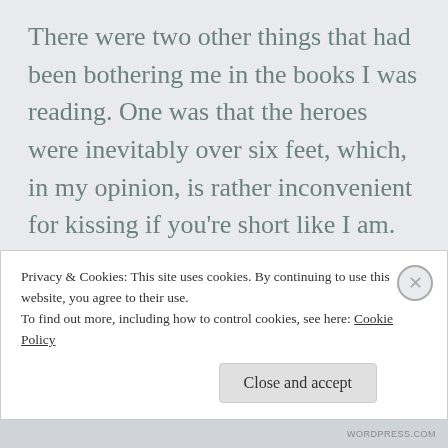There were two other things that had been bothering me in the books I was reading. One was that the heroes were inevitably over six feet, which, in my opinion, is rather inconvenient for kissing if you're short like I am. Cole is 5'7". The other is that contemporary romances often present an idyllic view of small-town life, which isn't always a basket of roses, especially when everyone looks down on you for your sex
Privacy & Cookies: This site uses cookies. By continuing to use this website, you agree to their use.
To find out more, including how to control cookies, see here: Cookie Policy